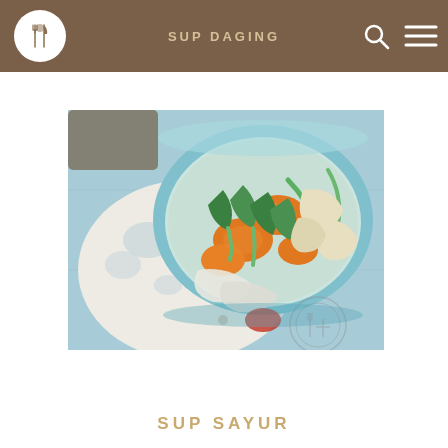SUP DAGING
[Figure (photo): A bowl of vegetable soup (Sup Sayur) with carrots, bok choy, potatoes, and other vegetables in a blue ceramic bowl, placed on a white cloth on a blue wooden surface. A watermark logo is visible in the bottom right of the image.]
SUP SAYUR